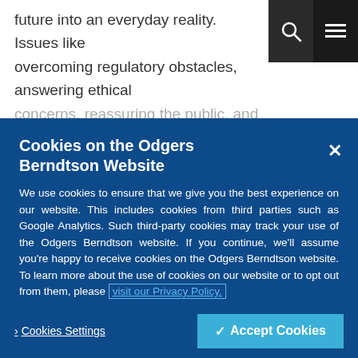future into an everyday reality. Issues like overcoming regulatory obstacles, answering ethical concerns, reassuring the public, and integrating this
Cookies on the Odgers Berndtson Website
We use cookies to ensure that we give you the best experience on our website. This includes cookies from third parties such as Google Analytics. Such third-party cookies may track your use of the Odgers Berndtson website. If you continue, we'll assume you're happy to receive cookies on the Odgers Berndtson website. To learn more about the use of cookies on our website or to opt out from them, please visit our Privacy Policy.
> Cookies Settings
✔ Accept Cookies